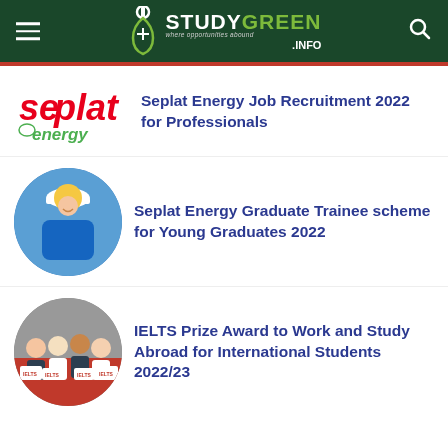STUDYGREEN .INFO — where opportunities abound
[Figure (logo): Seplat Energy logo — red and green stylized text]
Seplat Energy Job Recruitment 2022 for Professionals
[Figure (photo): Circular photo of a smiling worker in blue overalls and white hard hat at an industrial facility]
Seplat Energy Graduate Trainee scheme for Young Graduates 2022
[Figure (photo): Circular photo of a group of people in formal attire holding award placards]
IELTS Prize Award to Work and Study Abroad for International Students 2022/23